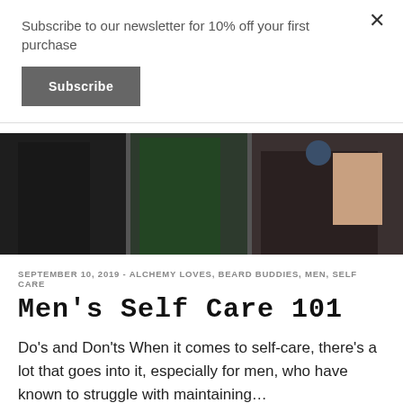Subscribe to our newsletter for 10% off your first purchase
Subscribe
[Figure (photo): Dark photo of men in jackets, partial view]
SEPTEMBER 10, 2019 - ALCHEMY LOVES, BEARD BUDDIES, MEN, SELF CARE
Men's Self Care 101
Do's and Don'ts When it comes to self-care, there's a lot that goes into it, especially for men, who have known to struggle with maintaining…
[Figure (photo): Light background with floral arrangement, roses and greenery]